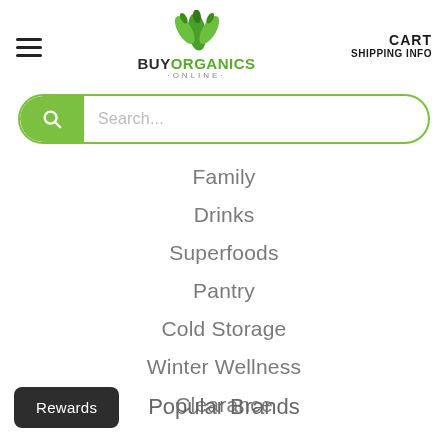BuyOrganics Online — CART SHIPPING INFO
[Figure (logo): BuyOrganics Online logo with green leaf icon, bold text BUY in dark and ORGANICS in green, ONLINE in small gray letters below]
Search...
Family
Drinks
Superfoods
Pantry
Cold Storage
Winter Wellness
Clearance
Popular Brands
Rewards